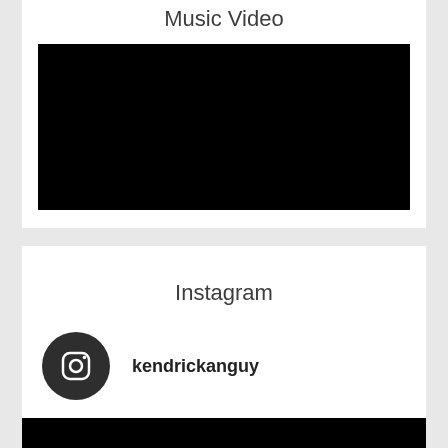Music Video
[Figure (other): Black rectangle representing an embedded music video player]
Instagram
[Figure (logo): Instagram icon circle with camera logo]
kendrickanguy
[Figure (other): Black rectangle at bottom representing an embedded Instagram media post]